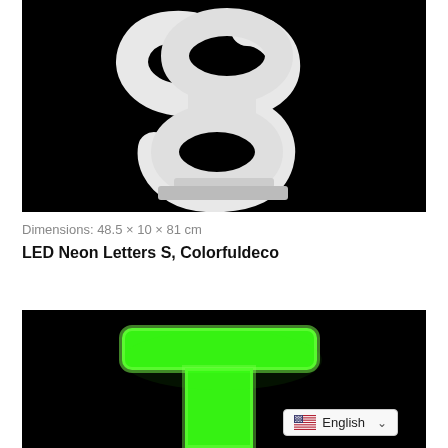[Figure (photo): White LED neon letter S on a stand against a black background]
Dimensions: 48.5 × 10 × 81 cm
LED Neon Letters S, Colorfuldeco
[Figure (photo): Green glowing LED neon letter T against a black background, with an English language selector badge in the bottom right corner]